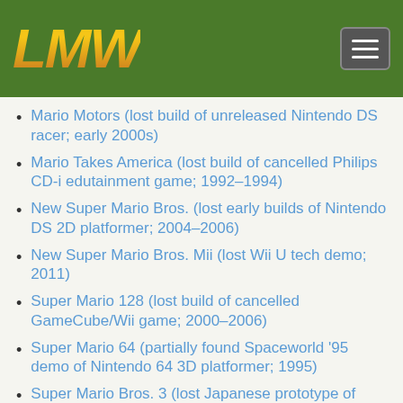[Figure (logo): LMW logo in gold/orange italic bold text on dark green background header with hamburger menu button]
Mario Motors (lost build of unreleased Nintendo DS racer; early 2000s)
Mario Takes America (lost build of cancelled Philips CD-i edutainment game; 1992–1994)
New Super Mario Bros. (lost early builds of Nintendo DS 2D platformer; 2004–2006)
New Super Mario Bros. Mii (lost Wii U tech demo; 2011)
Super Mario 128 (lost build of cancelled GameCube/Wii game; 2000–2006)
Super Mario 64 (partially found Spaceworld '95 demo of Nintendo 64 3D platformer; 1995)
Super Mario Bros. 3 (lost Japanese prototype of NES platformer; 1987–1988)
Super Mario Bros. (lost Commodore 64 port of NES